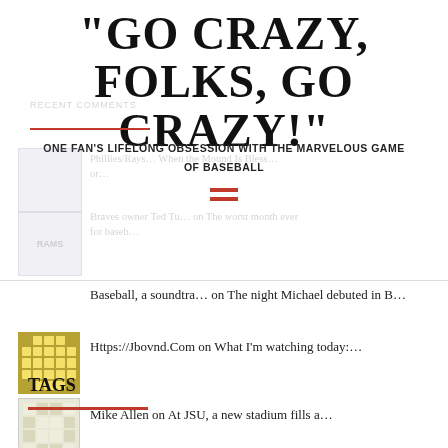“GO CRAZY, FOLKS, GO CRAZY!”
ONE FAN’S LIFELONG OBSESSION WITH THE MARVELOUS GAME OF BASEBALL
Baseball, a soundtra… on The night Michael debuted in B…
Https://Jbovnd.Com on What I’m watching today:…
Mike Allen on At JSU, a new stadium fills a…
TAGS